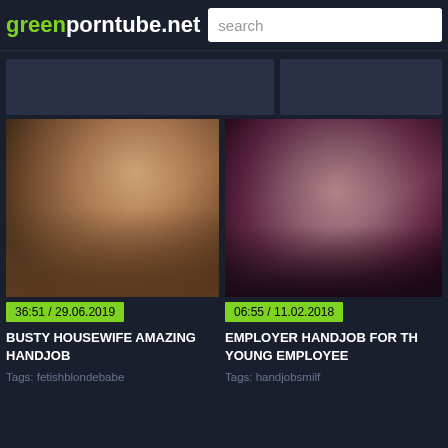greenporntube.net
[Figure (screenshot): Search bar with placeholder text 'search']
[Figure (photo): Video thumbnail: Busty housewife handjob scene]
36:51 / 29.06.2019
BUSTY HOUSEWIFE AMAZING HANDJOB
Tags: fetishblondebabe
[Figure (photo): Video thumbnail: Employer handjob scene]
06:55 / 11.02.2018
EMPLOYER HANDJOB FOR THE YOUNG EMPLOYEE
Tags: handjobsmilf